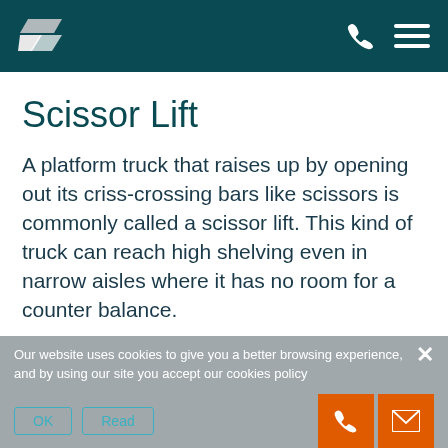Scissor Lift — website header with logo and navigation icons
Scissor Lift
A platform truck that raises up by opening out its criss-crossing bars like scissors is commonly called a scissor lift. This kind of truck can reach high shelving even in narrow aisles where it has no room for a counter balance.
Our website uses cookies to give you a better browsing experience, and by using our site you accept our cookies policy
OK   Read